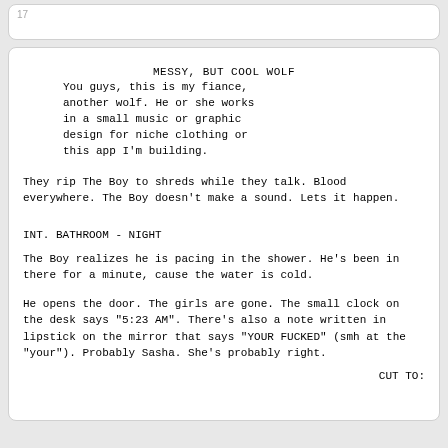MESSY, BUT COOL WOLF
You guys, this is my fiance, another wolf. He or she works in a small music or graphic design for niche clothing or this app I'm building.
They rip The Boy to shreds while they talk. Blood everywhere. The Boy doesn't make a sound. Lets it happen.
INT. BATHROOM - NIGHT
The Boy realizes he is pacing in the shower. He's been in there for a minute, cause the water is cold.
He opens the door. The girls are gone. The small clock on the desk says "5:23 AM". There's also a note written in lipstick on the mirror that says "YOUR FUCKED" (smh at the "your"). Probably Sasha. She's probably right.
CUT TO: